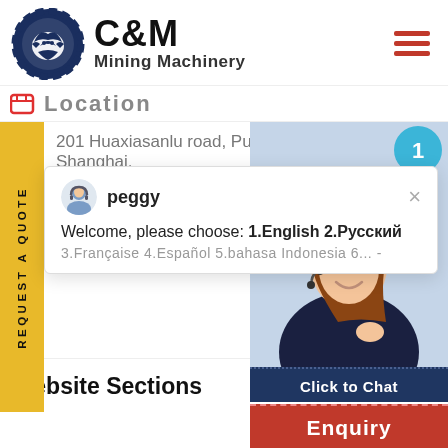[Figure (logo): C&M Mining Machinery logo with gear/eagle emblem circle and company name text]
Location
201 Huaxiasanlu road, Pudong new distric, Shanghai,
REQUEST A QUOTE
peggy
Welcome, please choose: 1.English  2.Русский
3.Française  4.Español  5.bahasa Indonesia  6...
[Figure (photo): Customer service woman with headset smiling, with notification badge showing 1 and Click to Chat button]
Website Sections
Enquiry